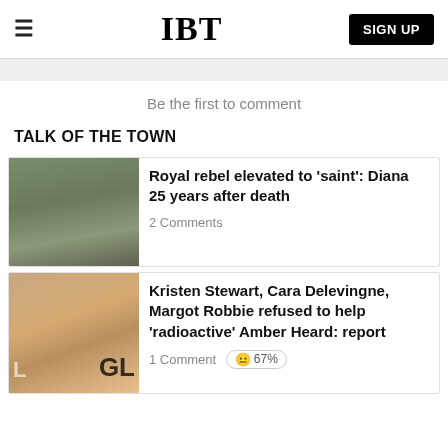IBT | SIGN UP
Be the first to comment
TALK OF THE TOWN
[Figure (photo): Photo of two people at a formal event, man in dark suit with red flower, woman in teal outfit]
Royal rebel elevated to 'saint': Diana 25 years after death
2 Comments
[Figure (photo): Close-up photo of a blonde woman with red lipstick at a glamour event]
Kristen Stewart, Cara Delevingne, Margot Robbie refused to help 'radioactive' Amber Heard: report
1 Comment  67%